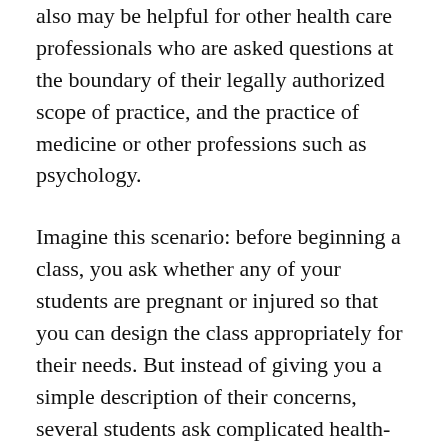also may be helpful for other health care professionals who are asked questions at the boundary of their legally authorized scope of practice, and the practice of medicine or other professions such as psychology.
Imagine this scenario: before beginning a class, you ask whether any of your students are pregnant or injured so that you can design the class appropriately for their needs. But instead of giving you a simple description of their concerns, several students ask complicated health-related questions. Three students have questions: the first is healing from whiplash and wonders whether Shoulderstand or Headstand could possibly compromise her chiropractic sessions; the second has asthma and asks about the potential benefits of these postures for his condition; the third has a heart condition and heard from his energy healer that “turning